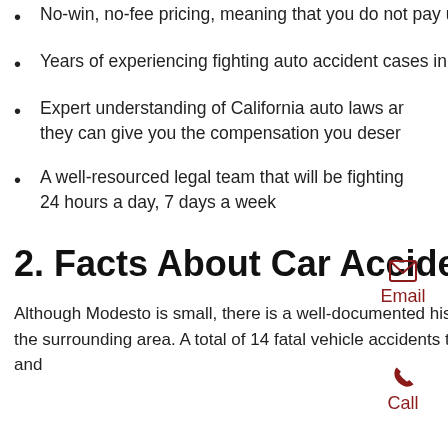No-win, no-fee pricing, meaning that you do not pay us a cent unless we win your case for you
Years of experiencing fighting auto accident cases in Modesto
Expert understanding of California auto laws and they can give you the compensation you deserve
A well-resourced legal team that will be fighting 24 hours a day, 7 days a week
2. Facts About Car Accidents in Modesto, CA
Although Modesto is small, there is a well-documented history of auto accidents taking place in the region and the surrounding area. A total of 14 fatal vehicle accidents took place in Fresno last year, with 25 people involved and